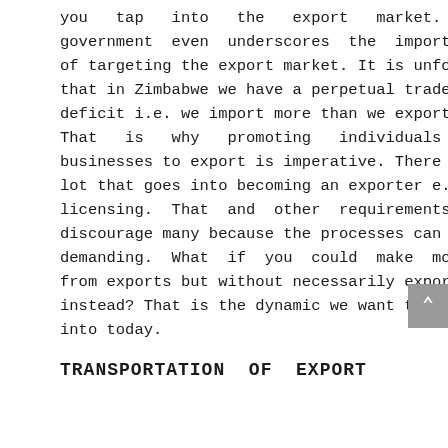you tap into the export market. The government even underscores the importance of targeting the export market. It is unfortunate that in Zimbabwe we have a perpetual trade deficit i.e. we import more than we export. That is why promoting individuals and businesses to export is imperative. There is a lot that goes into becoming an exporter e.g. licensing. That and other requirements can discourage many because the processes can be demanding. What if you could make money from exports but without necessarily exporting instead? That is the dynamic we want to look into today.
TRANSPORTATION OF EXPORT